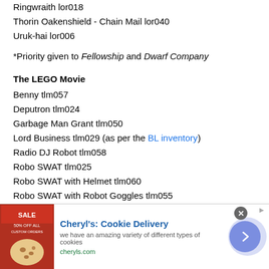Ringwraith lor018
Thorin Oakenshield - Chain Mail lor040
Uruk-hai lor006
*Priority given to Fellowship and Dwarf Company
The LEGO Movie
Benny tlm057
Deputron tlm024
Garbage Man Grant tlm050
Lord Business tlm029 (as per the BL inventory)
Radio DJ Robot tlm058
Robo SWAT tlm025
Robo SWAT with Helmet tlm060
Robo SWAT with Robot Goggles tlm055
Robo SWAT with Vest and Knit Cap tlm044
Sheriff Not-a-robot tlm023
[Figure (other): Advertisement banner for Cheryl's Cookie Delivery with image of cookies, text 'we have an amazing variety of different types of cookies', URL cheryls.com, close button, and arrow navigation button]